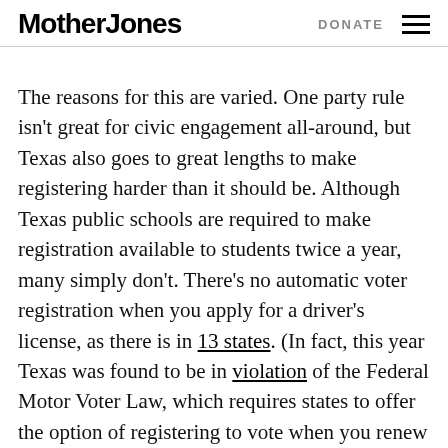Mother Jones | DONATE
The reasons for this are varied. One party rule isn't great for civic engagement all-around, but Texas also goes to great lengths to make registering harder than it should be. Although Texas public schools are required to make registration available to students twice a year, many simply don't. There's no automatic voter registration when you apply for a driver's license, as there is in 13 states. (In fact, this year Texas was found to be in violation of the Federal Motor Voter Law, which requires states to offer the option of registering to vote when you renew or update your license online.) If you want to register other people to vote—a bedrock activity of civic engagement and political organizing— you